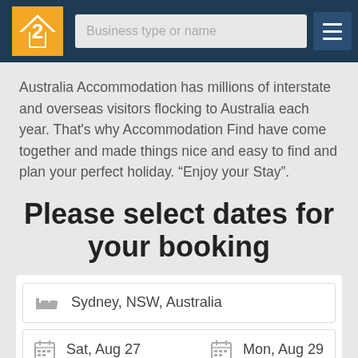[Figure (screenshot): Website header with orange logo containing a hand icon, a search input field labeled 'Business type or name', and a dark hamburger menu button on a dark navy background]
Australia Accommodation has millions of interstate and overseas visitors flocking to Australia each year. That's why Accommodation Find have come together and made things nice and easy to find and plan your perfect holiday. “Enjoy your Stay”.
Please select dates for your booking
Sydney, NSW, Australia
Sat, Aug 27   Mon, Aug 29